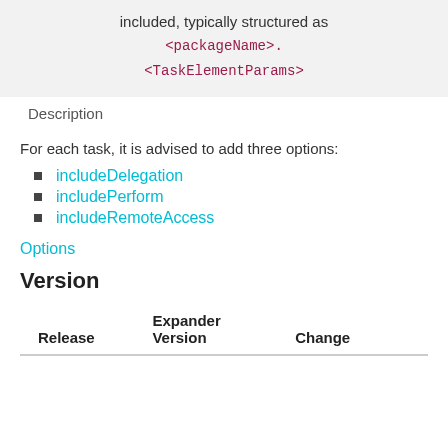included, typically structured as <packageName>.<TaskElementParams>
Description
For each task, it is advised to add three options:
includeDelegation
includePerform
includeRemoteAccess
Options
Version
| Release | Expander Version | Change |
| --- | --- | --- |